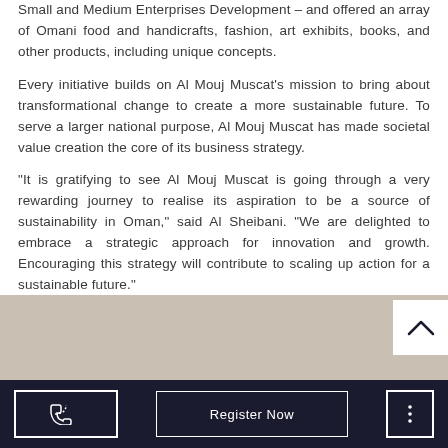Small and Medium Enterprises Development – and offered an array of Omani food and handicrafts, fashion, art exhibits, books, and other products, including unique concepts.
Every initiative builds on Al Mouj Muscat's mission to bring about transformational change to create a more sustainable future. To serve a larger national purpose, Al Mouj Muscat has made societal value creation the core of its business strategy.
"It is gratifying to see Al Mouj Muscat is going through a very rewarding journey to realise its aspiration to be a source of sustainability in Oman," said Al Sheibani. "We are delighted to embrace a strategic approach for innovation and growth. Encouraging this strategy will contribute to scaling up action for a sustainable future."
[Figure (other): Tan/beige background section with a white scroll-to-top button (chevron up icon) in the bottom-right corner]
Footer bar with phone button, Register Now button, and dots menu button